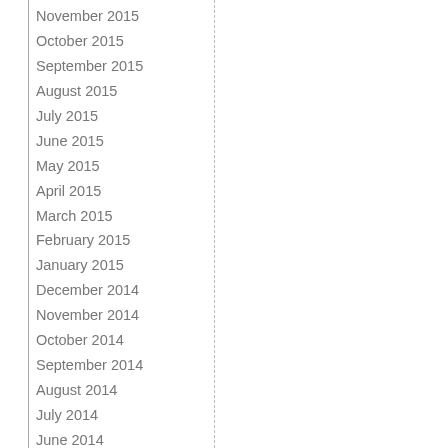November 2015
October 2015
September 2015
August 2015
July 2015
June 2015
May 2015
April 2015
March 2015
February 2015
January 2015
December 2014
November 2014
October 2014
September 2014
August 2014
July 2014
June 2014
May 2014
April 2014
March 2014
February 2014